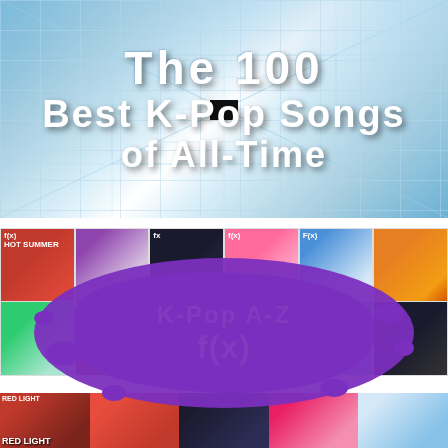[Figure (illustration): Blue tunnel/corridor background with grid lines and a black square in the center. White bold text overlay reading 'The 100 Best K-Pop Songs of All-Time']
[Figure (illustration): Collage of K-Pop album covers (f(x) discography) arranged in a grid with a large purple paint splash overlay. White bold text on splash reads 'K-Pop A-Z f(x)'. Bottom strip shows more album covers including 'RED LIGHT'.]